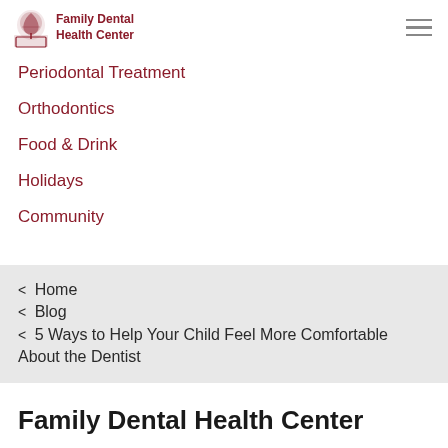Family Dental Health Center
Periodontal Treatment
Orthodontics
Food & Drink
Holidays
Community
< Home
< Blog
< 5 Ways to Help Your Child Feel More Comfortable About the Dentist
Family Dental Health Center